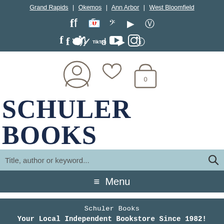Grand Rapids | Okemos | Ann Arbor | West Bloomfield
[Figure (other): Social media icons: Facebook, Twitter, TikTok, YouTube, Instagram]
[Figure (other): User account icon, heart/wishlist icon, shopping bag icon with 0]
SCHULER BOOKS
Title, author or keyword...
≡ Menu
Schuler Books
Your Local Independent Bookstore Since 1982!